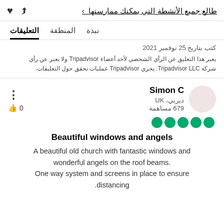طالع جميع الأنشطة التي يمكنك ممارستها
التعليقات   المنطقة   نبذة
كتب بتاريخ 25 نوفمبر 2021
يعبر هذا التعليق عن الرأي الشخصي لأحد أعضاء Tripadvisor ولا يعبر عن رأي شركة Tripadvisor LLC. يجري Tripadvisor عمليات تحقق حول التعليقات.
Simon C
ديربي، UK
679 مساهمة
[Figure (other): 5 green filled circles representing a 5-star rating]
Beautiful windows and angels
A beautiful old church with fantastic windows and wonderful angels on the roof beams. One way system and screens in place to ensure distancing.